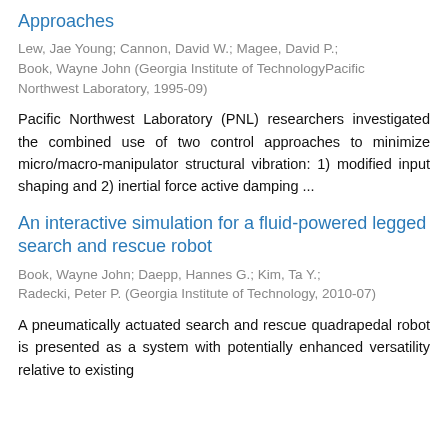Approaches
Lew, Jae Young; Cannon, David W.; Magee, David P.; Book, Wayne John (Georgia Institute of TechnologyPacific Northwest Laboratory, 1995-09)
Pacific Northwest Laboratory (PNL) researchers investigated the combined use of two control approaches to minimize micro/macro-manipulator structural vibration: 1) modified input shaping and 2) inertial force active damping ...
An interactive simulation for a fluid-powered legged search and rescue robot
Book, Wayne John; Daepp, Hannes G.; Kim, Ta Y.; Radecki, Peter P. (Georgia Institute of Technology, 2010-07)
A pneumatically actuated search and rescue quadrapedal robot is presented as a system with potentially enhanced versatility relative to existing